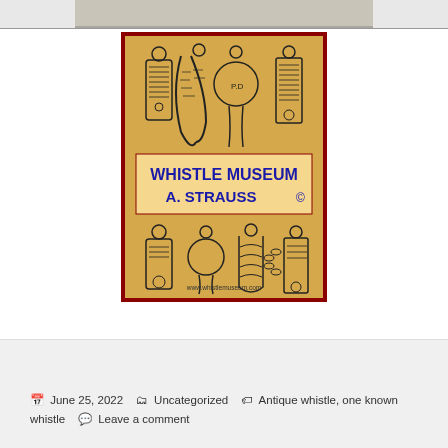[Figure (photo): Top portion of a photo showing a gray/stone surface, partially cropped]
[Figure (illustration): Whistle Museum book cover by A. Strauss showing illustrations of antique whistles on a golden background with a dark red border. Text reads WHISTLE MUSEUM A. STRAUSS © and www.whistlemuseum.com]
June 25, 2022  Uncategorized  Antique whistle, one known whistle  Leave a comment